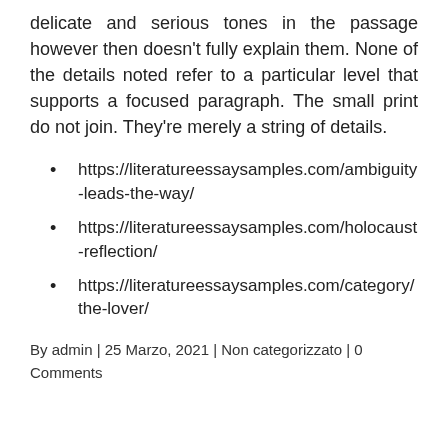delicate and serious tones in the passage however then doesn't fully explain them. None of the details noted refer to a particular level that supports a focused paragraph. The small print do not join. They're merely a string of details.
https://literatureessaysamples.com/ambiguity-leads-the-way/
https://literatureessaysamples.com/holocaust-reflection/
https://literatureessaysamples.com/category/the-lover/
By admin | 25 Marzo, 2021 | Non categorizzato | 0 Comments